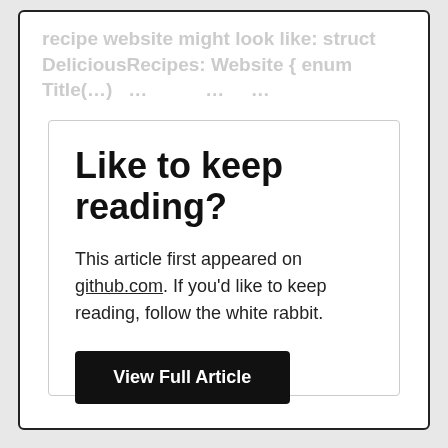recipe website might look like: struct DeliciousRecipes: Website { enum Title(…) …
Like to keep reading?
This article first appeared on github.com. If you'd like to keep reading, follow the white rabbit.
View Full Article